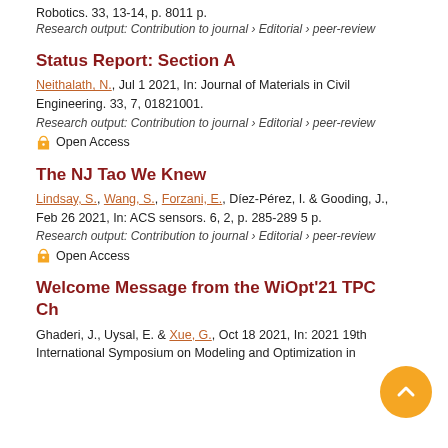Robotics. 33, 13-14, p. 8011 p.
Research output: Contribution to journal › Editorial › peer-review
Status Report: Section A
Neithalath, N., Jul 1 2021, In: Journal of Materials in Civil Engineering. 33, 7, 01821001.
Research output: Contribution to journal › Editorial › peer-review
Open Access
The NJ Tao We Knew
Lindsay, S., Wang, S., Forzani, E., Díez-Pérez, I. & Gooding, J., Feb 26 2021, In: ACS sensors. 6, 2, p. 285-289 5 p.
Research output: Contribution to journal › Editorial › peer-review
Open Access
Welcome Message from the WiOpt'21 TPC Ch
Ghaderi, J., Uysal, E. & Xue, G., Oct 18 2021, In: 2021 19th International Symposium on Modeling and Optimization in